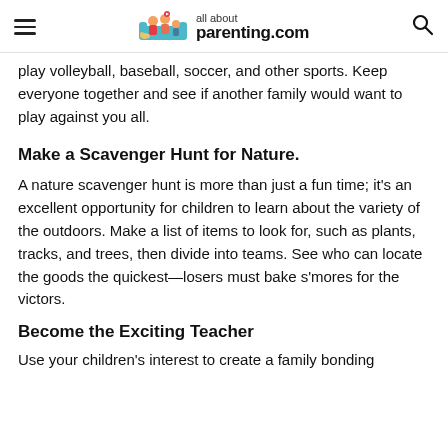all about parenting.com
play volleyball, baseball, soccer, and other sports. Keep everyone together and see if another family would want to play against you all.
Make a Scavenger Hunt for Nature.
A nature scavenger hunt is more than just a fun time; it's an excellent opportunity for children to learn about the variety of the outdoors. Make a list of items to look for, such as plants, tracks, and trees, then divide into teams. See who can locate the goods the quickest—losers must bake s'mores for the victors.
Become the Exciting Teacher
Use your children's interest to create a family bonding